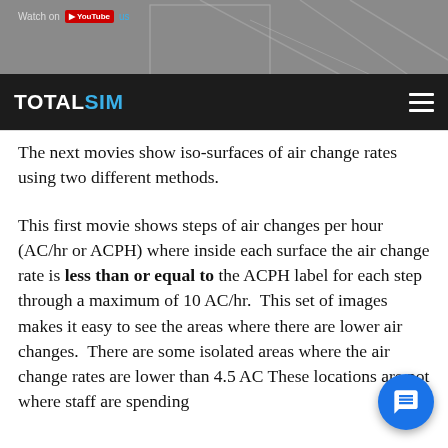TotalSim - Watch on YouTube
The next movies show iso-surfaces of air change rates using two different methods.
This first movie shows steps of air changes per hour (AC/hr or ACPH) where inside each surface the air change rate is less than or equal to the ACPH label for each step through a maximum of 10 AC/hr. This set of images makes it easy to see the areas where there are lower air changes. There are some isolated areas where the air change rates are lower than 4.5 AC... These locations are not where staff are spending time on the areas that are below 8 feet high. Most of the fl...